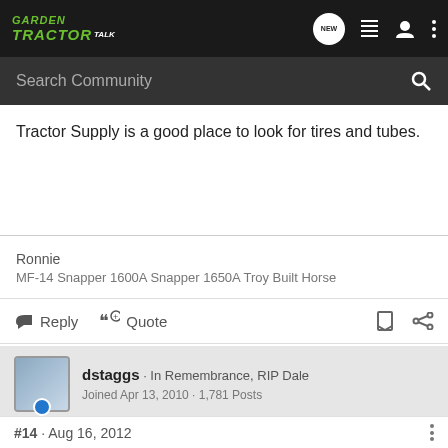GARDEN TRACTOR TALK — Search Community
Tractor Supply is a good place to look for tires and tubes.
Ronnie
MF-14 Snapper 1600A Snapper 1650A Troy Built Horse
Reply  Quote
dstaggs · In Remembrance, RIP Dale
Joined Apr 13, 2010 · 1,781 Posts
#14 · Aug 16, 2012